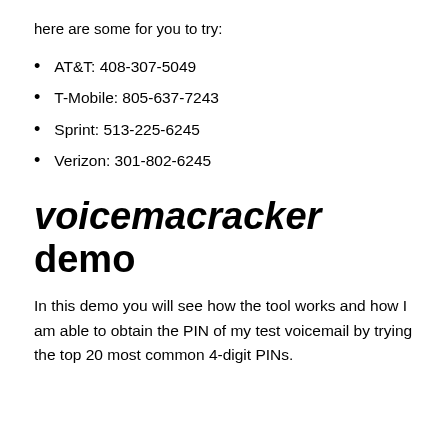here are some for you to try:
AT&T: 408-307-5049
T-Mobile: 805-637-7243
Sprint: 513-225-6245
Verizon: 301-802-6245
voicemacracker demo
In this demo you will see how the tool works and how I am able to obtain the PIN of my test voicemail by trying the top 20 most common 4-digit PINs.